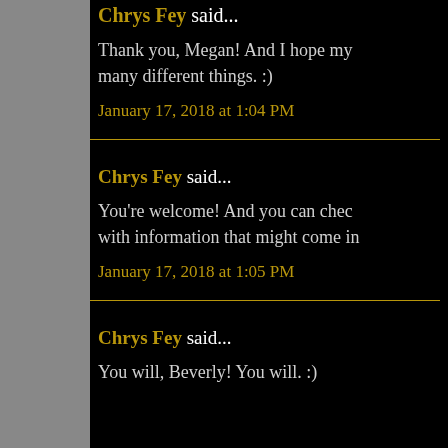Chrys Fey said... Thank you, Megan! And I hope my many different things. :)
January 17, 2018 at 1:04 PM
Chrys Fey said... You're welcome! And you can chec with information that might come in
January 17, 2018 at 1:05 PM
Chrys Fey said... You will, Beverly! You will. :)